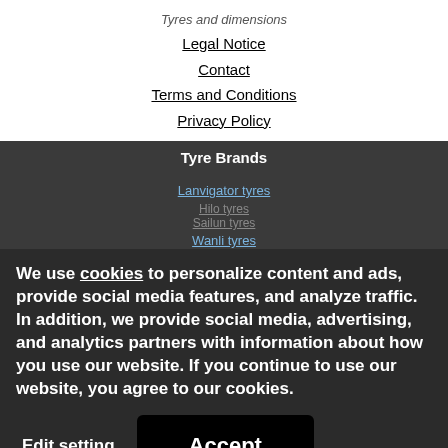Tyres and dimensions
Legal Notice
Contact
Terms and Conditions
Privacy Policy
Tyre Brands
Lanvigator tyres
Wanli tyres
Constancy tyres
Nordexx tyres
Trazano tyres
Franklin Collection tyres
Tourador tyres
We use cookies to personalize content and ads, provide social media features, and analyze traffic. In addition, we provide social media, advertising, and analytics partners with information about how you use our website. If you continue to use our website, you agree to our cookies.
Edit setting
Accept
Car Tyres
AUDI Tyres
BMW Tyres
MERCEDES-BENZ Tyres